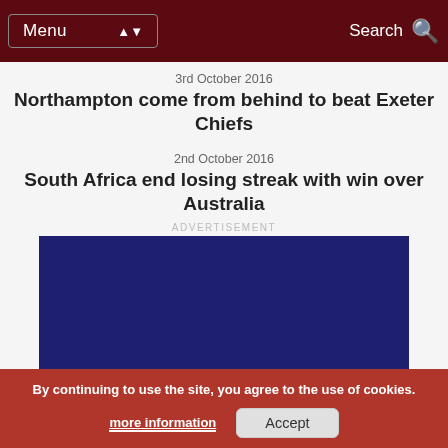Menu | Search
3rd October 2016
Northampton come from behind to beat Exeter Chiefs
2nd October 2016
South Africa end losing streak with win over Australia
ADVERTISEMENT
[Figure (other): Dark blue advertisement banner placeholder]
By continuing to use the site, you agree to the use of cookies. more information  Accept